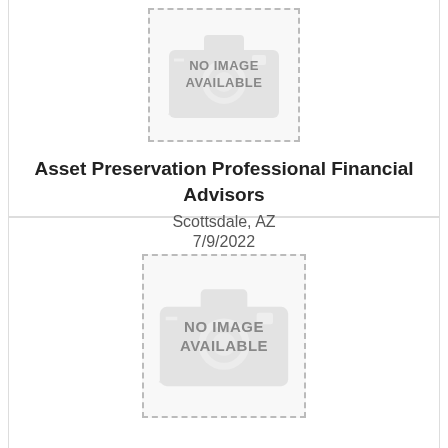[Figure (other): No image available placeholder with dashed border and camera watermark icon]
Asset Preservation Professional Financial Advisors
Scottsdale, AZ
7/9/2022
★★★★★
[Figure (other): No image available placeholder with dashed border and camera watermark icon]